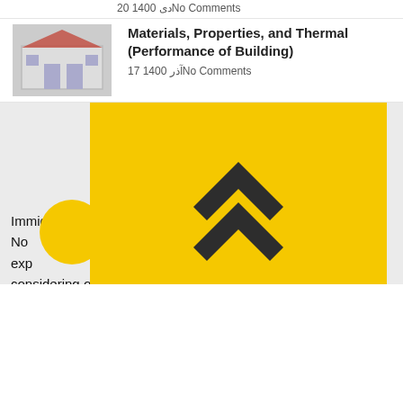20 1400 دی No Comments
Materials, Properties, and Thermal (Performance of Building)
17 1400 آذر No Comments
[Figure (illustration): Small illustration of a building or architectural icon]
[Figure (illustration): Yellow box with double chevron/arrow-up icon; yellow circle partially overlaid on left]
Immigration ... in No ... ent exp ... re, considering our many years of history and hoping to pave this tortuous path, we have set foot on this path